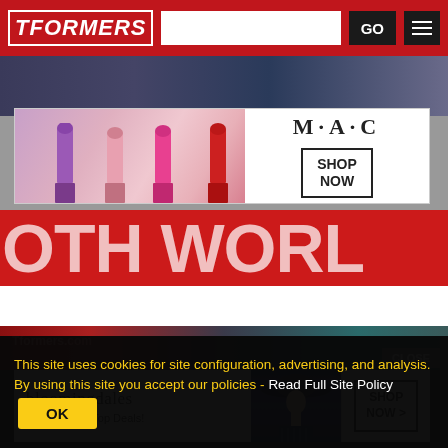TFORMERS
[Figure (photo): MAC cosmetics advertisement showing lipsticks in purple, pink, and red with MAC logo and SHOP NOW button]
[Figure (photo): Red banner with large white text reading OTH WORL (partial text visible), appears to be a Transformers event banner]
[Figure (photo): Bloomingdales advertisement showing a woman in a hat with text 'bloomingdales View Today's Top Deals!' and SHOP NOW button]
CLOSE
This site uses cookies for site configuration, advertising, and analysis. By using this site you accept our policies - Read Full Site Policy  OK